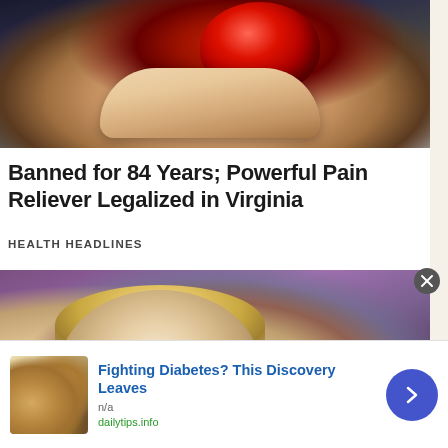[Figure (photo): Close-up photo of fingers holding a red sugary berry/candy against a dark background]
Banned for 84 Years; Powerful Pain Reliever Legalized in Virginia
HEALTH HEADLINES
[Figure (photo): Portrait photo of an older blonde woman with glasses against a purple background]
[Figure (photo): Advertisement banner: Fighting Diabetes? This Discovery Leaves — with thumbnail of cashews, source: dailytips.info]